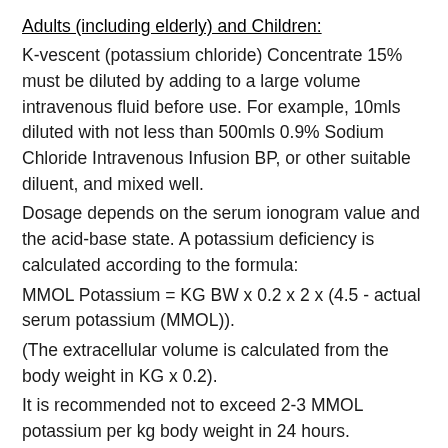Adults (including elderly) and Children:
K-vescent (potassium chloride) Concentrate 15% must be diluted by adding to a large volume intravenous fluid before use. For example, 10mls diluted with not less than 500mls 0.9% Sodium Chloride Intravenous Infusion BP, or other suitable diluent, and mixed well.
Dosage depends on the serum ionogram value and the acid-base state. A potassium deficiency is calculated according to the formula:
MMOL Potassium = KG BW x 0.2 x 2 x (4.5 - actual serum potassium (MMOL)).
(The extracellular volume is calculated from the body weight in KG x 0.2).
It is recommended not to exceed 2-3 MMOL potassium per kg body weight in 24 hours.